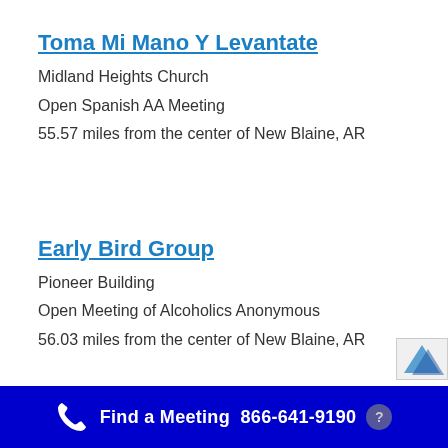Toma Mi Mano Y Levantate
Midland Heights Church
Open Spanish AA Meeting
55.57 miles from the center of New Blaine, AR
Early Bird Group
Pioneer Building
Open Meeting of Alcoholics Anonymous
56.03 miles from the center of New Blaine, AR
Find a Meeting  866-641-9190